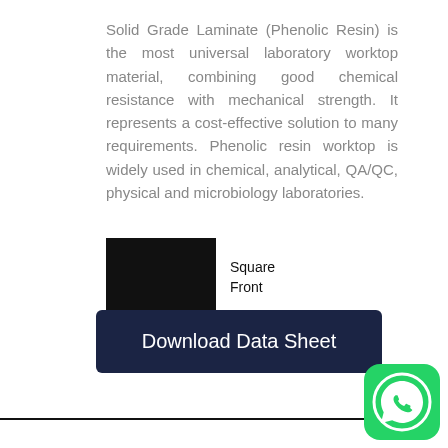Solid Grade Laminate (Phenolic Resin) is the most universal laboratory worktop material, combining good chemical resistance with mechanical strength. It represents a cost-effective solution to many requirements. Phenolic resin worktop is widely used in chemical, analytical, QA/QC, physical and microbiology laboratories.
[Figure (illustration): Black square swatch labeled 'Square Front' showing the edge profile of the laminate material]
Download Data Sheet